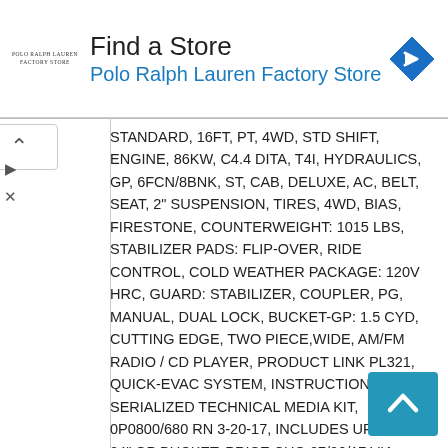[Figure (screenshot): Ad banner: Polo Ralph Lauren Factory Store logo and navigation icon with 'Find a Store' heading]
STANDARD, 16FT, PT, 4WD, STD SHIFT, ENGINE, 86KW, C4.4 DITA, T4I, HYDRAULICS, GP, 6FCN/8BNK, ST, CAB, DELUXE, AC, BELT, SEAT, 2" SUSPENSION, TIRES, 4WD, BIAS, FIRESTONE, COUNTERWEIGHT: 1015 LBS, STABILIZER PADS: FLIP-OVER, RIDE CONTROL, COLD WEATHER PACKAGE: 120V HRC, GUARD: STABILIZER, COUPLER, PG, MANUAL, DUAL LOCK, BUCKET-GP: 1.5 CYD, CUTTING EDGE, TWO PIECE,WIDE, AM/FM RADIO / CD PLAYER, PRODUCT LINK PL321, QUICK-EVAC SYSTEM, INSTRUCTIONS: ANSI, SERIALIZED TECHNICAL MEDIA KIT, 0P0800/680 RN 3-20-17, INCLUDES UP TO A 24" GP BUCKET, PRICE CHG:07/06/17 VIA FIXASKPRC